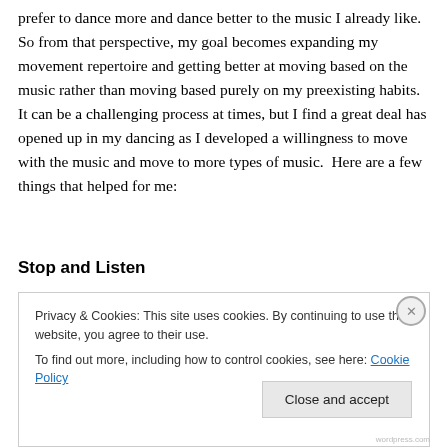prefer to dance more and dance better to the music I already like.  So from that perspective, my goal becomes expanding my movement repertoire and getting better at moving based on the music rather than moving based purely on my preexisting habits.  It can be a challenging process at times, but I find a great deal has opened up in my dancing as I developed a willingness to move with the music and move to more types of music.  Here are a few things that helped for me:
Stop and Listen
Privacy & Cookies: This site uses cookies. By continuing to use this website, you agree to their use.
To find out more, including how to control cookies, see here: Cookie Policy